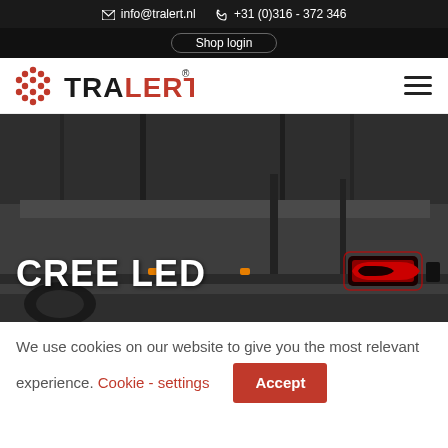✉ info@tralert.nl  📞 +31 (0)316 - 372 346
Shop login
[Figure (logo): Tralert logo with red dot grid icon and TRALERT text in black and red]
CREE LED
[Figure (photo): Rear view of a dark grey flatbed truck/trailer showing red LED tail lights, taken in an industrial setting]
We use cookies on our website to give you the most relevant experience.  Cookie - settings  Accept